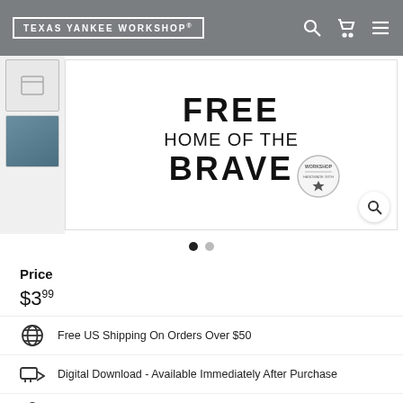TEXAS YANKEE WORKSHOP®
[Figure (screenshot): Product image showing text: FREE HOME OF THE BRAVE with a Workshop badge, carousel dots below]
Price
$3.99
Free US Shipping On Orders Over $50
Digital Download - Available Immediately After Purchase
Secure Online Shopping